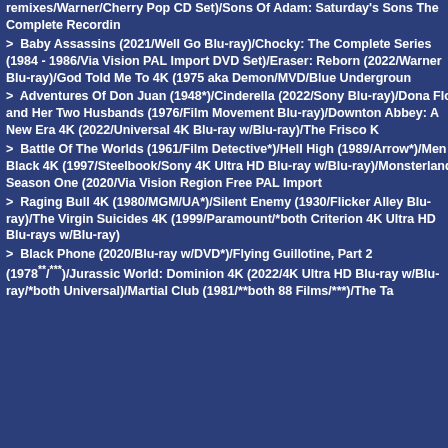remixes/Warner/Cherry Pop CD Set)/Sons Of Adam: Saturday's Sons The Complete Recordin
> Baby Assassins (2021/Well Go Blu-ray)/Chocky: The Complete Series (1984 - 1986/Via Vision PAL Import DVD Set)/Eraser: Reborn (2022/Warner Blu-ray)/God Told Me To 4K (1975 aka Demon/MVD/Blue Undergroun
> Adventures Of Don Juan (1948*)/Cinderella (2022/Sony Blu-ray)/Dona Flor and Her Two Husbands (1976/Film Movement Blu-ray)/Downton Abbey: A New Era 4K (2022/Universal 4K Blu-ray w/Blu-ray)/The Frisco K
> Battle Of The Worlds (1961/Film Detective*)/Hell High (1989/Arrow*)/Men In Black 4K (1997/Steelbook/Sony 4K Ultra HD Blu-ray w/Blu-ray)/Monsterland: Season One (2020/Via Vision Region Free PAL Import
> Raging Bull 4K (1980/MGM/UA*)/Silent Enemy (1930/Flicker Alley Blu-ray)/The Virgin Suicides 4K (1999/Paramount/*both Criterion 4K Ultra HD Blu-rays w/Blu-ray)
> Black Phone (2020/Blu-ray w/DVD*)/Flying Guillotine, Part 2 (1978***/***)/Jurassic World: Dominion 4K (2022/4K Ultra HD Blu-ray w/Blu-ray/*both Universal)/Martial Club (1981/**both 88 Films/***)/The Ta
Essays in this section: 1
•MGM - The Lion Sleeps Tonight... & Forever
[Figure (illustration): Decorative dark navy blue background with swirl/spiral pattern]